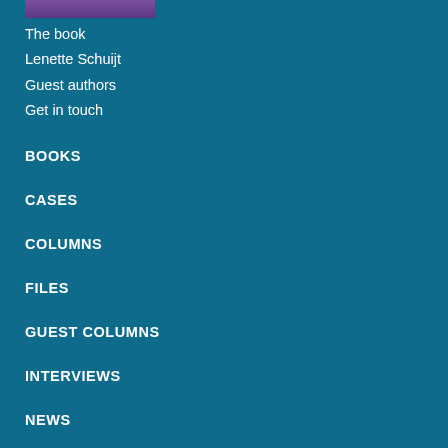[Figure (photo): Partial photo strip at top showing a person, cropped]
The book
Lenette Schuijt
Guest authors
Get in touch
BOOKS
CASES
COLUMNS
FILES
GUEST COLUMNS
INTERVIEWS
NEWS
QUOTES
RESEARCH
UNDERCURRENT